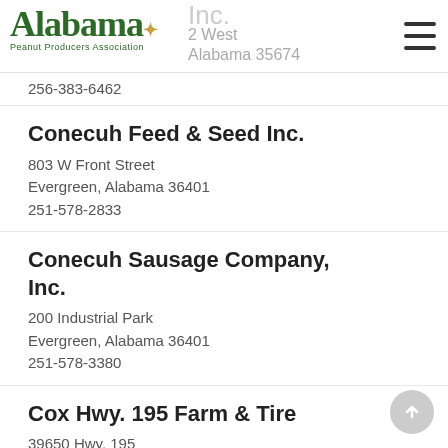Alabama Peanut Producers Association
256-383-6462
Conecuh Feed & Seed Inc.
803 W Front Street
Evergreen, Alabama 36401
251-578-2833
Conecuh Sausage Company, Inc.
200 Industrial Park
Evergreen, Alabama 36401
251-578-3380
Cox Hwy. 195 Farm & Tire
39650 Hwy. 195
Haleyville, Alabama 35565